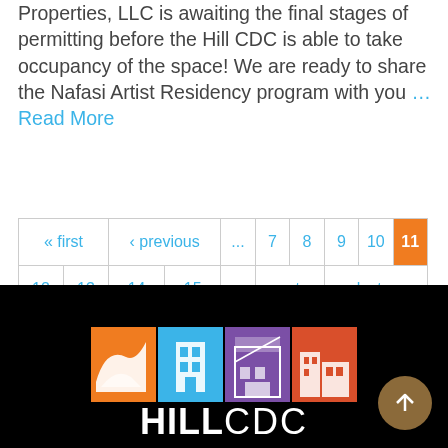Properties, LLC is awaiting the final stages of permitting before the Hill CDC is able to take occupancy of the space! We are ready to share the Nafasi Artist Residency program with you … Read More
| « first | ‹ previous | ... | 7 | 8 | 9 | 10 | 11 |
| 12 | 13 | 14 | 15 | ... | next › | last » |
[Figure (logo): Hill CDC logo with four colored tiles (orange, blue, purple, red-orange) showing building illustrations, with HILLCDC text below in white on black background]